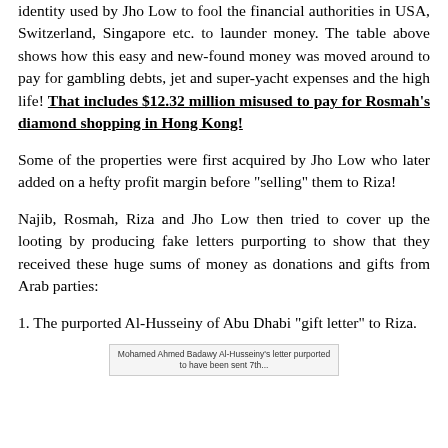identity used by Jho Low to fool the financial authorities in USA, Switzerland, Singapore etc. to launder money. The table above shows how this easy and new-found money was moved around to pay for gambling debts, jet and super-yacht expenses and the high life! That includes $12.32 million misused to pay for Rosmah's diamond shopping in Hong Kong!
Some of the properties were first acquired by Jho Low who later added on a hefty profit margin before "selling" them to Riza!
Najib, Rosmah, Riza and Jho Low then tried to cover up the looting by producing fake letters purporting to show that they received these huge sums of money as donations and gifts from Arab parties:
1. The purported Al-Husseiny of Abu Dhabi "gift letter" to Riza.
Mohamed Ahmed Badawy Al-Husseiny's letter purported to have been sent 7th...